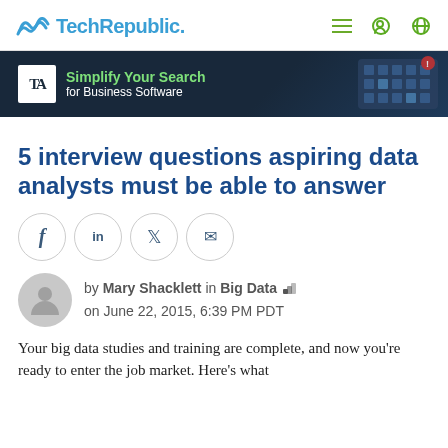TechRepublic.
[Figure (infographic): TechAdvisor advertisement banner: 'Simplify Your Search for Business Software' with maze graphic]
5 interview questions aspiring data analysts must be able to answer
[Figure (infographic): Social sharing buttons: Facebook, LinkedIn, Twitter, Email]
by Mary Shacklett in Big Data
on June 22, 2015, 6:39 PM PDT
Your big data studies and training are complete, and now you're ready to enter the job market. Here's what